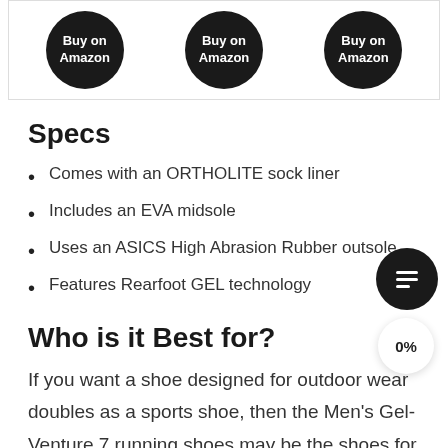[Figure (other): Three black circular 'Buy on Amazon' buttons arranged horizontally in a bordered container at the top of the page]
Specs
Comes with an ORTHOLITE sock liner
Includes an EVA midsole
Uses an ASICS High Abrasion Rubber outsole
Features Rearfoot GEL technology
Who is it Best for?
If you want a shoe designed for outdoor wear doubles as a sports shoe, then the Men's Gel-Venture 7 running shoes may be the shoes for you. While those are intended to be worn as